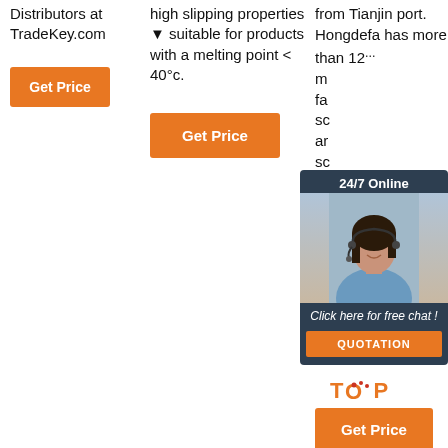Distributors at TradeKey.com
[Figure (other): Orange 'Get Price' button in column 1]
high slipping properties suitable for products with a melting point < 40°c.
[Figure (other): Orange 'Get Price' button in column 2]
from Tianjin port. Hongdefa has more than 12... meters warehouses...
[Figure (other): 24/7 Online chat widget overlay with agent photo, 'Click here for free chat!' text, and QUOTATION button]
[Figure (other): TOP logo in orange]
[Figure (other): Orange 'Get Price' button in column 3]